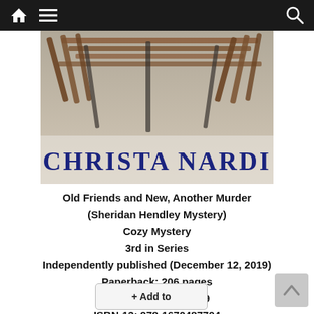Navigation bar with home, menu, and search icons
[Figure (illustration): Book cover for a Christa Nardi mystery novel showing wooden chairs/furniture on a patio with the author name 'CHRISTA NARDI' in large dark blue serif letters at the bottom]
Old Friends and New, Another Murder (Sheridan Hendley Mystery)
Cozy Mystery
3rd in Series
Independently published (December 12, 2019)
Paperback: 206 pages
ISBN-10: 1670487709
ISBN-13: 978-1670487704
Digital ASIN: B08276QVPR
+ Add to